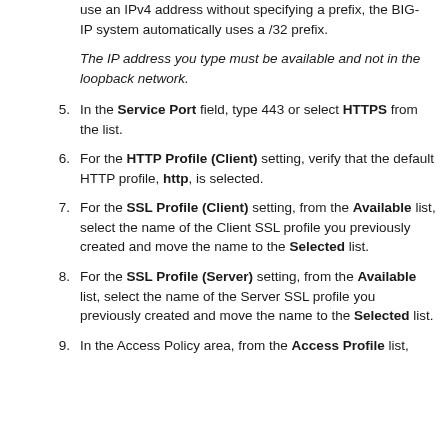use an IPv4 address without specifying a prefix, the BIG-IP system automatically uses a /32 prefix.

The IP address you type must be available and not in the loopback network.
5. In the Service Port field, type 443 or select HTTPS from the list.
6. For the HTTP Profile (Client) setting, verify that the default HTTP profile, http, is selected.
7. For the SSL Profile (Client) setting, from the Available list, select the name of the Client SSL profile you previously created and move the name to the Selected list.
8. For the SSL Profile (Server) setting, from the Available list, select the name of the Server SSL profile you previously created and move the name to the Selected list.
9. In the Access Policy area, from the Access Profile list,